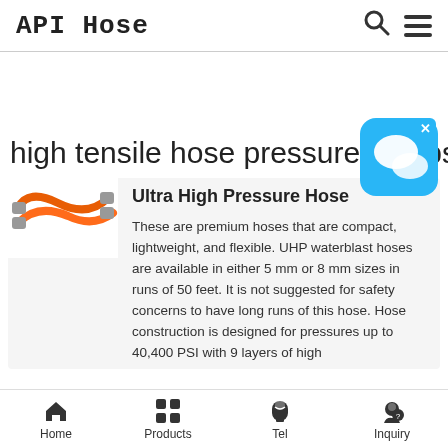API Hose
high tensile hose pressure test psi
[Figure (photo): Orange fiber optic / hose cables photo used as product thumbnail]
Ultra High Pressure Hose
These are premium hoses that are compact, lightweight, and flexible. UHP waterblast hoses are available in either 5 mm or 8 mm sizes in runs of 50 feet. It is not suggested for safety concerns to have long runs of this hose. Hose construction is designed for pressures up to 40,400 PSI with 9 layers of high
Home  Products  Tel  Inquiry